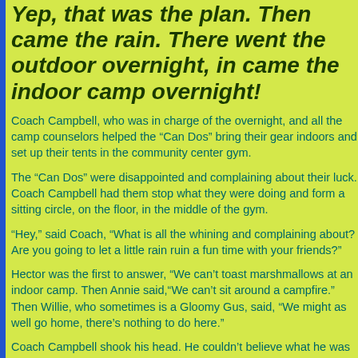Yep, that was the plan. Then came the rain. There went the outdoor overnight, in came the indoor camp overnight!
Coach Campbell, who was in charge of the overnight, and all the camp counselors helped the “Can Dos” bring their gear indoors and set up their tents in the community center gym.
The “Can Dos” were disappointed and complaining about their luck. Coach Campbell had them stop what they were doing and form a sitting circle, on the floor, in the middle of the gym.
“Hey,” said Coach, “What is all the whining and complaining about? Are you going to let a little rain ruin a fun time with your friends?”
Hector was the first to answer, “We can’t toast marshmallows at an indoor camp. Then Annie said,“We can’t sit around a campfire.” Then Willie, who sometimes is a Gloomy Gus, said, “We might as well go home, there’s nothing to do here.”
Coach Campbell shook his head. He couldn’t believe what he was hearing! “I thought you were all “Can D0” kids, kids who were…